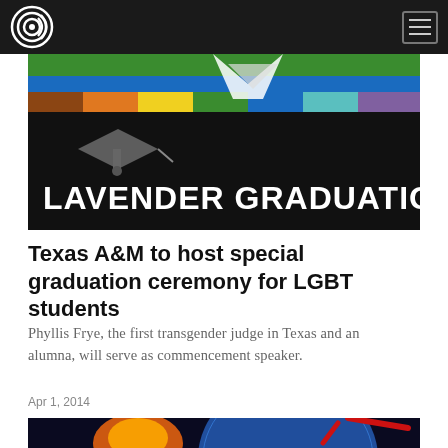[Figure (logo): Circular logo with concentric rings on dark navbar]
[Figure (illustration): Lavender Graduation banner with rainbow stripes and mortar board cap, text 'LAVENDER GRADUATION']
Texas A&M to host special graduation ceremony for LGBT students
Phyllis Frye, the first transgender judge in Texas and an alumna, will serve as commencement speaker.
Apr 1, 2014
[Figure (illustration): Image of Earth from space with explosion and red comet/missile]